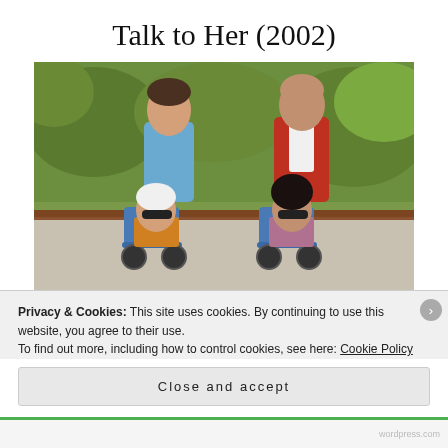Talk to Her (2002)
[Figure (photo): Movie promotional photo showing four people outdoors: two men standing behind two women seated in wheelchairs wearing sunglasses. One man wears blue scrubs, the other a red jacket. Greenery in background.]
Privacy & Cookies: This site uses cookies. By continuing to use this website, you agree to their use.
To find out more, including how to control cookies, see here: Cookie Policy
Close and accept